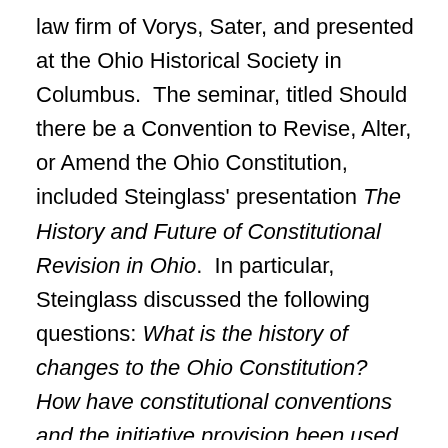law firm of Vorys, Sater, and presented at the Ohio Historical Society in Columbus. The seminar, titled Should there be a Convention to Revise, Alter, or Amend the Ohio Constitution, included Steinglass' presentation The History and Future of Constitutional Revision in Ohio. In particular, Steinglass discussed the following questions: What is the history of changes to the Ohio Constitution? How have constitutional conventions and the initiative provision been used to amend the Ohio Constitution? Should there be a constitutional convention? What are the pros and cons of a convention versus a commission? In addition to several other academics and lawyers from around the state, seminar participants included, The Hon. Ted Strickland, 68th Governor of the State of Ohio, The Hon. Peggy L. Bryant, Judge, Tenth District Court of Appeals, The Hon.